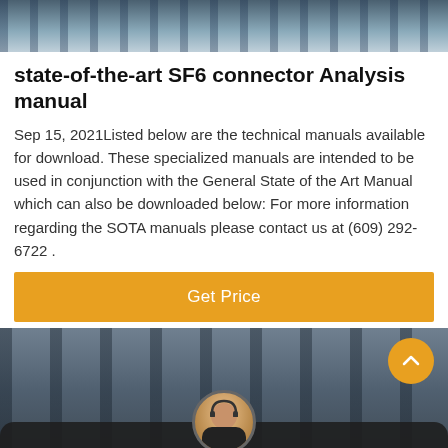[Figure (photo): Top portion of a photo showing industrial/engineering equipment with blue tones]
state-of-the-art SF6 connector Analysis manual
Sep 15, 2021Listed below are the technical manuals available for download. These specialized manuals are intended to be used in conjunction with the General State of the Art Manual which can also be downloaded below: For more information regarding the SOTA manuals please contact us at (609) 292-6722 .
[Figure (other): Orange 'Get Price' button]
[Figure (photo): Bottom industrial facility photo with dark overlay, chat support bar at bottom showing 'Leave Message' and 'Chat Online' with agent avatar]